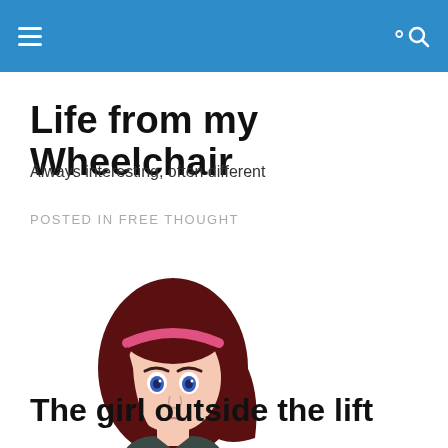Life from my Wheelchair
Life from my Wheelchair
Always interesting, often different
POSTED IN FREE THOUGHT
[Figure (illustration): Cartoon illustration of a young girl with dark red hair, pink headband, blue eyes, wearing a white hoodie, looking straight ahead with a serious expression.]
The girl outside the lift